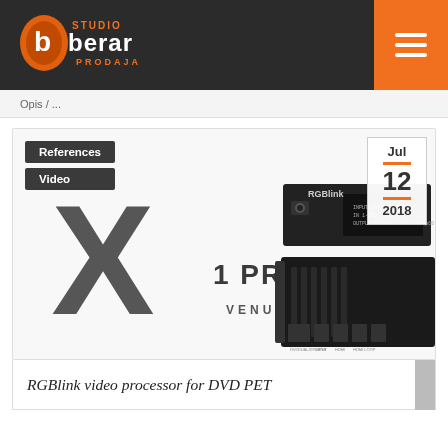Studio Berar Prodaja — navigation header with logo and hamburger menu
Opis / description partial text (truncated)
References
Video
Jul — 12 — 2018
[Figure (photo): RGBlink X1 PRO Venus video processor product image showing rack-mounted hardware units with front panel connectors and display]
RGBlink video processor for DVD PET